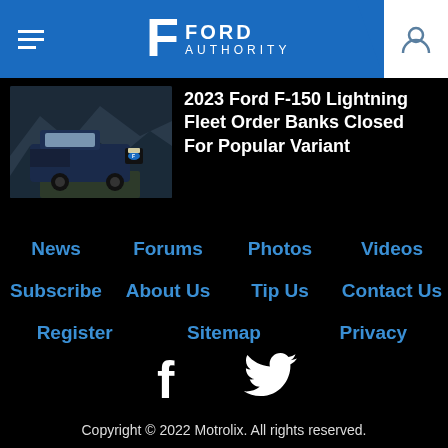Ford Authority
2023 Ford F-150 Lightning Fleet Order Banks Closed For Popular Variant
[Figure (photo): Dark blue Ford F-150 Lightning electric pickup truck driving on a mountain road]
News
Forums
Photos
Videos
Subscribe
About Us
Tip Us
Contact Us
Register
Sitemap
Privacy
[Figure (logo): Facebook and Twitter social media icons]
Copyright © 2022 Motrolix. All rights reserved.